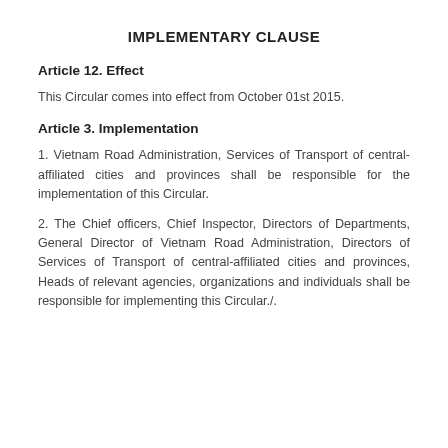IMPLEMENTARY CLAUSE
Article 12. Effect
This Circular comes into effect from October 01st 2015.
Article 3. Implementation
1. Vietnam Road Administration, Services of Transport of central-affiliated cities and provinces shall be responsible for the implementation of this Circular.
2. The Chief officers, Chief Inspector, Directors of Departments, General Director of Vietnam Road Administration, Directors of Services of Transport of central-affiliated cities and provinces, Heads of relevant agencies, organizations and individuals shall be responsible for implementing this Circular./.